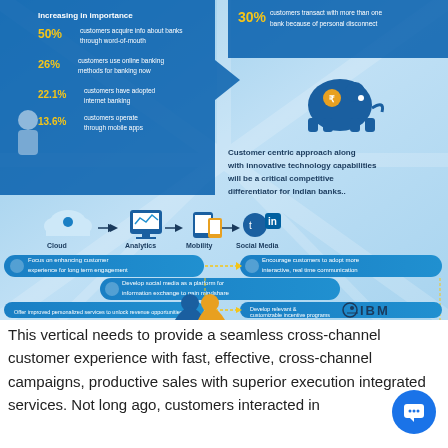[Figure (infographic): IBM infographic about Indian banking digital transformation. Shows statistics: 50% customers acquire info about banks through word-of-mouth, 26% customers use online banking methods for banking now, 22.1% customers have adopted internet banking, 13.6% customers operate through mobile apps. Also shows 30% customers transact with more than one bank because of personal disconnect. Center text: Customer centric approach along with innovative technology capabilities will be a critical competitive differentiator for Indian banks. Technology flow: Cloud -> Analytics -> Mobility -> Social Media. Action pills: Focus on enhancing customer experience for long term engagement; Encourage customers to adopt more interactive, real time communication channels; Develop social media as a platform for information exchange to gain mindshare; Offer improved personalized services to unlock revenue opportunities; Develop relevant & customizable incentive programs. IBM logo at bottom right.]
This vertical needs to provide a seamless cross-channel customer experience with fast, effective, cross-channel campaigns, productive sales with superior execution integrated services. Not long ago, customers interacted in